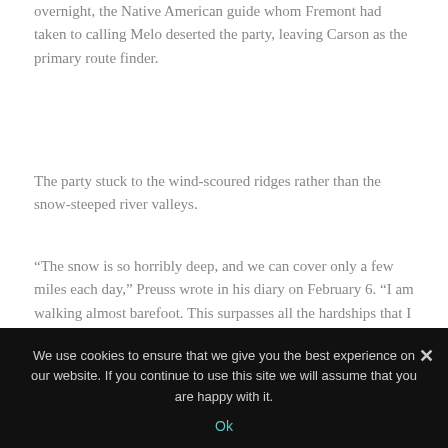overnight, the Native American guide whom Fremont had taken to calling Melo deserted the party, leaving Carson as the primary route finder.
The party stuck to the wind-scoured ridges rather than the snow-steeped river valleys.
“The snow is so horribly deep, and we can cover only a few miles each day,” Preuss wrote in his diary on February 6. “I am walking almost barefoot. This surpasses all the hardships that I have experienced until now.”
Nevertheless, on February 6, Carson provided optimism, spotting Mount Diablo from the trail.
We use cookies to ensure that we give you the best experience on our website. If you continue to use this site we will assume that you are happy with it.
Ok